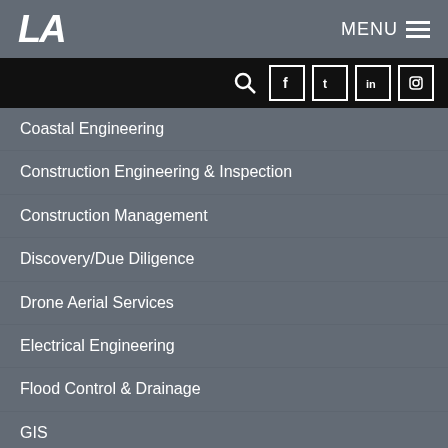LA | MENU
Coastal Engineering
Construction Engineering & Inspection
Construction Management
Discovery/Due Diligence
Drone Aerial Services
Electrical Engineering
Flood Control & Drainage
GIS
Hydrographic & Bathymetry Surveys
Hydrology & Hydraulics